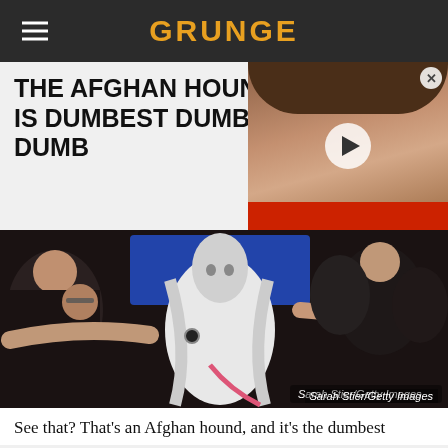GRUNGE
THE AFGHAN HOUND IS DUMBEST DUMB-DUMB
[Figure (photo): Video thumbnail showing a woman with brown hair and a red collar/scarf, with a play button overlay and close (X) button]
[Figure (photo): Afghan hound dog being presented at a dog show, surrounded by people petting it. Photo credit: Sarah Stier/Getty Images]
Sarah Stier/Getty Images
See that? That's an Afghan hound, and it's the dumbest